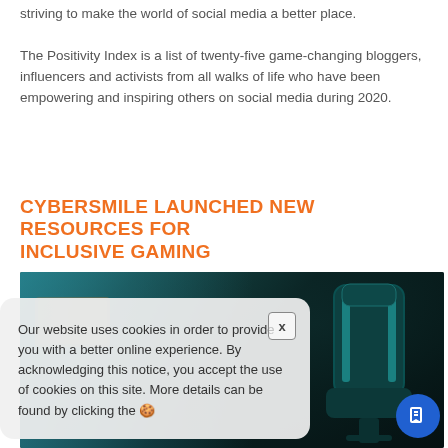striving to make the world of social media a better place.
The Positivity Index is a list of twenty-five game-changing bloggers, influencers and activists from all walks of life who have been empowering and inspiring others on social media during 2020.
CYBERSMILE LAUNCHED NEW RESOURCES FOR INCLUSIVE GAMING
[Figure (photo): A dimly lit gaming setup with a teal/cyan gaming chair in the foreground on the right, and a glowing monitor setup visible in the background on the left, with warm orange and teal lighting.]
Our website uses cookies in order to provide you with a better online experience. By acknowledging this notice, you accept the use of cookies on this site. More details can be found by clicking the 🍪